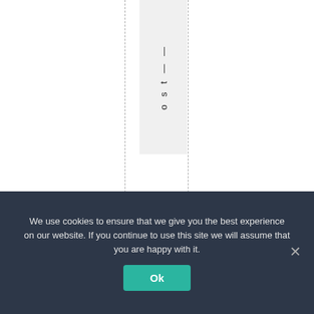o s t | |
92 comments to Smell that evidence
We use cookies to ensure that we give you the best experience on our website. If you continue to use this site we will assume that you are happy with it.